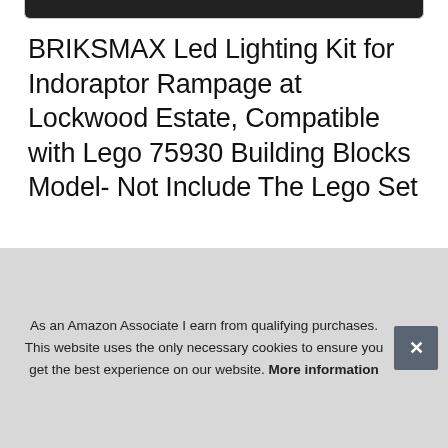[Figure (photo): Dark image bar at top of page, partially visible]
BRIKSMAX Led Lighting Kit for Indoraptor Rampage at Lockwood Estate, Compatible with Lego 75930 Building Blocks Model- Not Include The Lego Set
#ad
[Figure (photo): Row of four product thumbnail images partially visible]
As an Amazon Associate I earn from qualifying purchases. This website uses the only necessary cookies to ensure you get the best experience on our website. More information